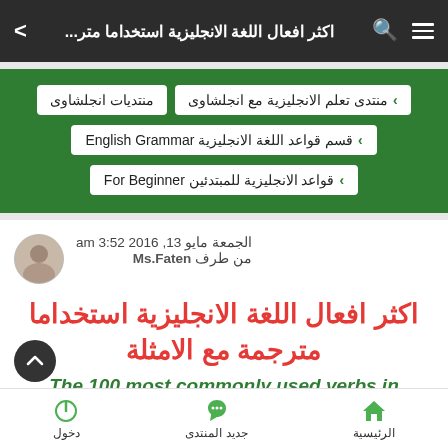اكثر افعال اللغة الانجليزية استخداما متر...
منتديات انجلشاوى
› منتدى تعلم الانجليزية مع انجلشاوى
› قسم قواعد اللغة الانجليزية English Grammar
› قواعد الانجليزية للمبتدئين For Beginner
الجمعة مايو 13, 2016 3:52 am
من طرف Ms.Faten
اكثر افعال اللغة الانجليزية استخداما مترجمة مع الامثلة
The 100 most commonly used verbs in
الرئيسية   جديد المنتدى   دخول